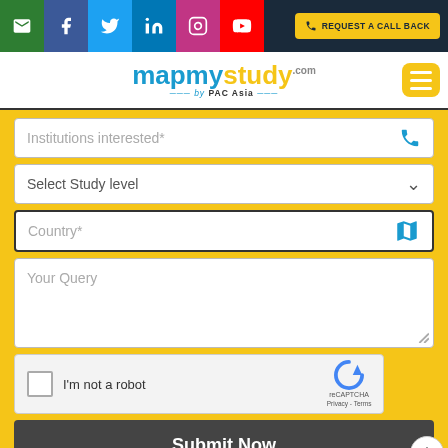[Figure (screenshot): Top navigation bar with social media icons (email, facebook, twitter, linkedin, instagram, youtube) and a Request a Call Back button]
[Figure (logo): MapMyStudy.com by PAC Asia logo with hamburger menu button]
Institutions interested*
Select Study level
Country*
Your Query
I'm not a robot
reCAPTCHA
Privacy - Terms
Submit Now